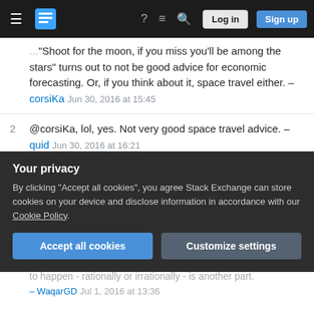Stack Exchange navigation bar with hamburger, logo, help, chat, search, Log in, Sign up
"Shoot for the moon, if you miss you'll be among the stars" turns out to not be good advice for economic forecasting. Or, if you think about it, space travel either. – corsiKa Jun 30, 2016 at 15:45
2  @corsiKa, lol, yes. Not very good space travel advice. – quid Jun 30, 2016 at 16:21
3  I think what's even harder for people to understand is that even if Apple hits it's estimate, the stock price could drop for the simple reason that as they keep gaining market share, it's becomes increasingly less likely they can sustain the growth in market share. – JimmyJames Jun 30, 2016 at 16:57
Your privacy
By clicking "Accept all cookies", you agree Stack Exchange can store cookies on your device and disclose information in accordance with our Cookie Policy.
Accept all cookies   Customize settings
to happen - rationally or irrationally - is another part. – WaqarGD, Jul 1, 2016 at 13:36